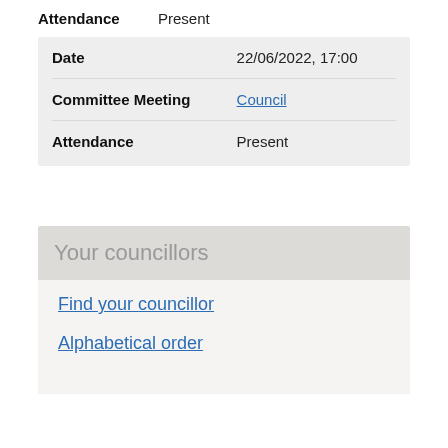Attendance   Present
| Date | 22/06/2022, 17:00 |
| Committee Meeting | Council |
| Attendance | Present |
Your councillors
Find your councillor
Alphabetical order